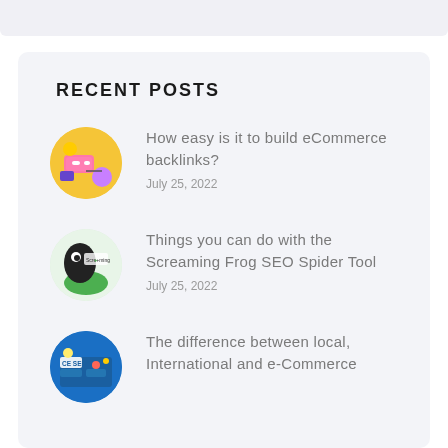RECENT POSTS
[Figure (illustration): Circular thumbnail illustration for eCommerce backlinks post]
How easy is it to build eCommerce backlinks?
July 25, 2022
[Figure (illustration): Circular thumbnail with Screaming Frog logo/mascot]
Things you can do with the Screaming Frog SEO Spider Tool
July 25, 2022
[Figure (illustration): Circular thumbnail for local, international and e-Commerce SEO post]
The difference between local, International and e-Commerce